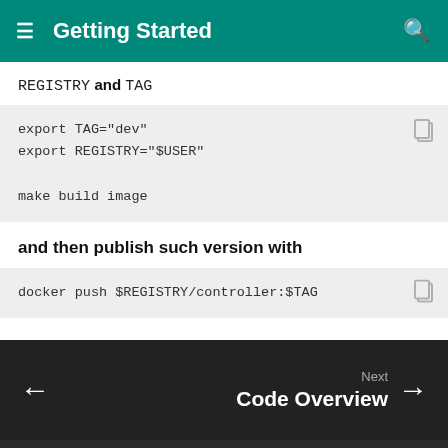Getting Started
REGISTRY and TAG
export TAG="dev"
export REGISTRY="$USER"

make build image
and then publish such version with
docker push $REGISTRY/controller:$TAG
Next
Code Overview
Made with Material for MkDocs